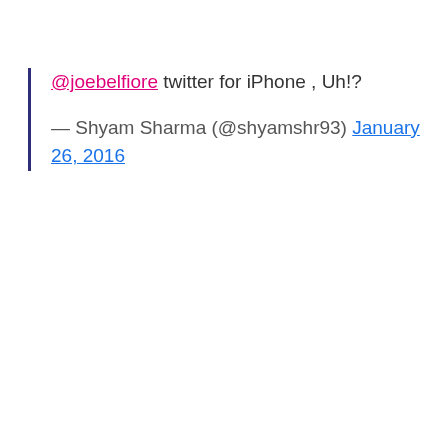@joebelfiore twitter for iPhone , Uh!? — Shyam Sharma (@shyamshr93) January 26, 2016